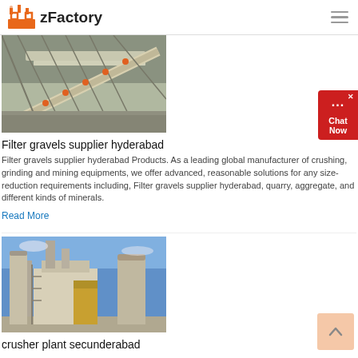zFactory
[Figure (photo): Conveyor belt with orange balls and metal framework at a filter gravel facility]
Filter gravels supplier hyderabad
Filter gravels supplier hyderabad Products. As a leading global manufacturer of crushing, grinding and mining equipments, we offer advanced, reasonable solutions for any size-reduction requirements including, Filter gravels supplier hyderabad, quarry, aggregate, and different kinds of minerals.
Read More
[Figure (photo): Industrial crusher plant facility with large machinery, silos and blue sky background in Secunderabad]
crusher plant secunderabad